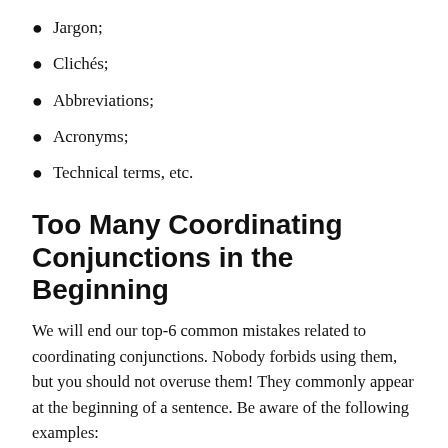Jargon;
Clichés;
Abbreviations;
Acronyms;
Technical terms, etc.
Too Many Coordinating Conjunctions in the Beginning
We will end our top-6 common mistakes related to coordinating conjunctions. Nobody forbids using them, but you should not overuse them! They commonly appear at the beginning of a sentence. Be aware of the following examples: